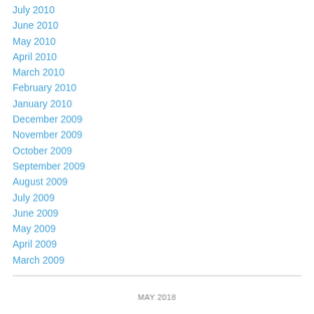July 2010
June 2010
May 2010
April 2010
March 2010
February 2010
January 2010
December 2009
November 2009
October 2009
September 2009
August 2009
July 2009
June 2009
May 2009
April 2009
March 2009
MAY 2018